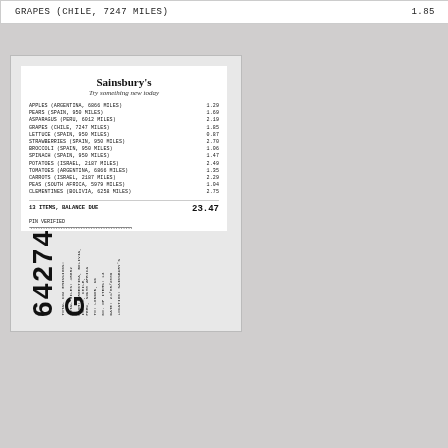| Item | Price |
| --- | --- |
| GRAPES (CHILE, 7247 MILES) | 1.85 |
[Figure (photo): Sainsbury's supermarket receipt showing 13 items of produce from various countries with distances, total balance due 23.47, PIN verified, and bottom stub with 64274 G, total miles 45652, dated 24/05/2009]
Sainsbury's
Try something new today
APPLES (ARGENTINA, 6866 MILES)  1.29
PEARS (SPAIN, 950 MILES)  1.69
ASPARAGUS (PERU, 6012 MILES)  2.19
GRAPES (CHILE, 7247 MILES)  1.85
LETTUCE (SPAIN, 950 MILES)  0.87
STRAWBERRIES (SPAIN, 950 MILES)  2.70
BROCCOLI (SPAIN, 950 MILES)  1.06
SPINACH (SPAIN, 950 MILES)  1.47
POTATOES (ISRAEL, 2187 MILES)  2.49
TOMATOES (ARGENTINA, 6866 MILES)  1.35
CARROTS (ISRAEL, 2187 MILES)  2.29
PEAS (SOUTH AFRICA, 5979 MILES)  1.04
CLEMENTINES (BOLIVIA, 6258 MILES)  2.75
13 ITEMS, BALANCE DUE  23.47
PIN VERIFIED
64274 G  TOTAL MILES: 45652  DATE: 24/05/2009  TO: LONDON, UK  FROM: ARGENTINA, BOLIVIA, ISRAEL, CHILE, PERU, SOUTH AFRICA  NO. OF ITEMS: 13  LOCATION: SAINSBURY'S  TOTAL CO2 EMISSIONS: